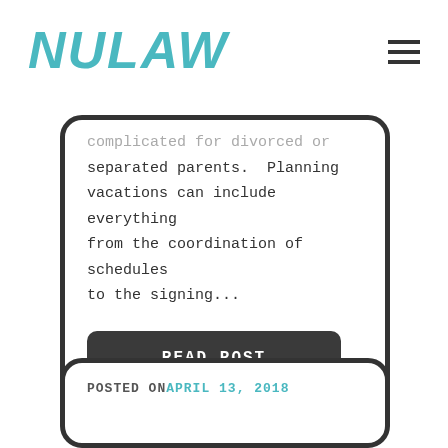NULAW
complicated for divorced or separated parents. Planning vacations can include everything from the coordination of schedules to the signing...
READ POST
POSTED ON APRIL 13, 2018